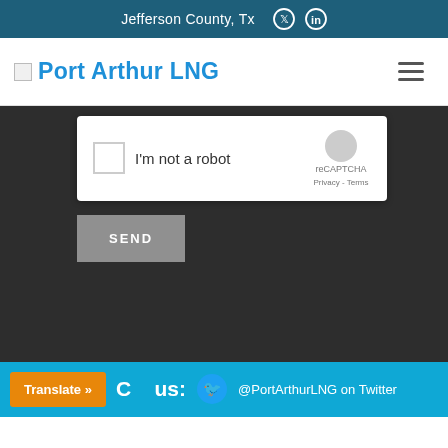Jefferson County, Tx
[Figure (screenshot): Website navigation bar with Port Arthur LNG logo and hamburger menu]
[Figure (screenshot): reCAPTCHA widget with checkbox 'I'm not a robot' and reCAPTCHA logo with Privacy - Terms links]
[Figure (screenshot): SEND button in gray]
Translate » | Connect with us: @PortArthurLNG on Twitter